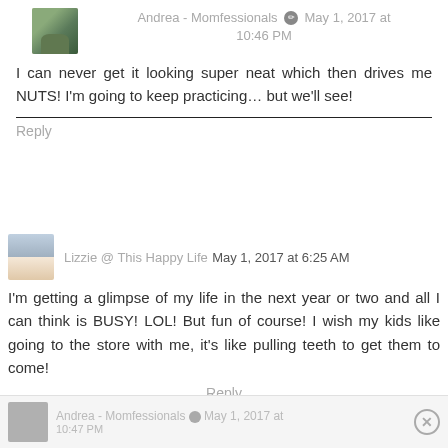Andrea - Momfessionals  May 1, 2017 at 10:46 PM
I can never get it looking super neat which then drives me NUTS! I'm going to keep practicing... but we'll see!
Reply
Lizzie @ This Happy Life  May 1, 2017 at 6:25 AM
I'm getting a glimpse of my life in the next year or two and all I can think is BUSY! LOL! But fun of course! I wish my kids like going to the store with me, it's like pulling teeth to get them to come!
Reply
▾ Replies
Andrea - Momfessionals  May 1, 2017 at 10:47 PM